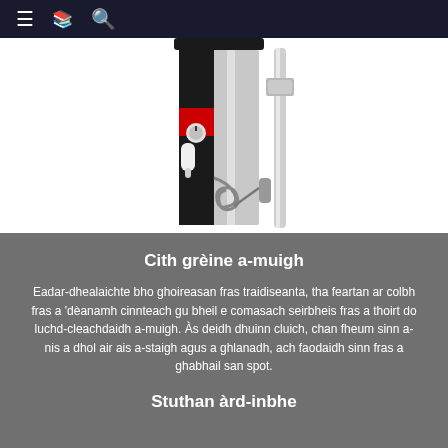≡  📋  🔍
[Figure (photo): Outdoor solar shower column unit — black and chrome finish with a mixer valve, red temperature indicator, and a handheld shower hose attachment on the right side.]
Cith grèine a-muigh
Eadar-dhealaichte bho ghoireasan fras traidiseanta, tha feartan ar colbh fras a 'dèanamh cinnteach gu bheil e comasach seirbheis fras a thoirt do luchd-cleachdaidh a-muigh. Às deidh dhuinn cluich, chan fheum sinn a-nis a dhol air ais a-staigh agus a ghlanadh, ach faodaidh sinn fras a ghabhail san spot.
Stuthan àrd-inbhe